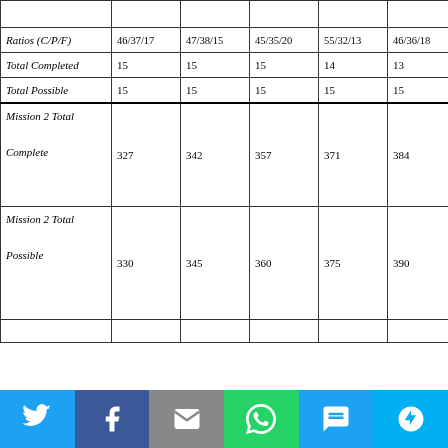|  | Col1 | Col2 | Col3 | Col4 | Col5 | Col6 |
| --- | --- | --- | --- | --- | --- | --- |
| Ratios (C/P/F) | 46/37/17 | 47/38/15 | 45/35/20 | 55/32/13 | 46/36/18 |  |
| Total Completed | 15 | 15 | 15 | 14 | 13 |  |
| Total Possible | 15 | 15 | 15 | 15 | 15 |  |
| Mission 2 Total Complete | 327 | 342 | 357 | 371 | 384 |  |
| Mission 2 Total Possible | 330 | 345 | 360 | 375 | 390 |  |